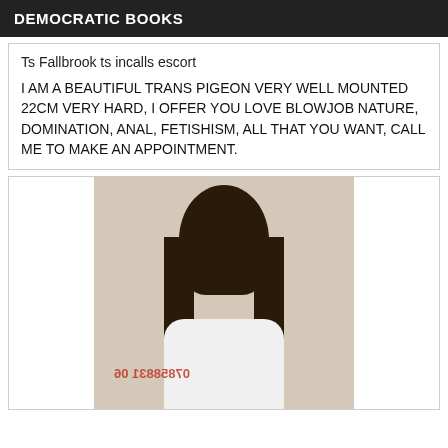DEMOCRATIC BOOKS
Ts Fallbrook ts incalls escort
I AM A BEAUTIFUL TRANS PIGEON VERY WELL MOUNTED 22CM VERY HARD, I OFFER YOU LOVE BLOWJOB NATURE, DOMINATION, ANAL, FETISHISM, ALL THAT YOU WANT, CALL ME TO MAKE AN APPOINTMENT.
[Figure (photo): Photo of a young woman with long dark hair, smiling, wearing a white top. A phone number watermark appears in red at the bottom left of the image.]